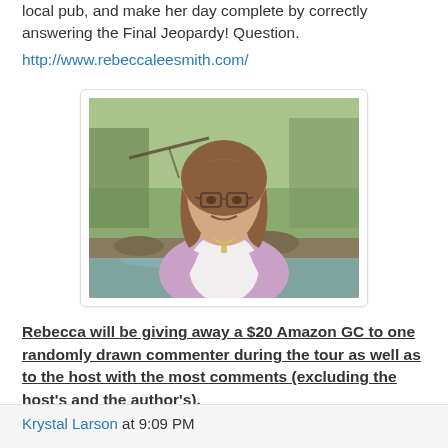local pub, and make her day complete by correctly answering the Final Jeopardy! Question.
http://www.rebeccaleesmith.com/
[Figure (photo): Author photo of a woman with brown hair and glasses, wearing a pink/lavender cardigan over a white top, seated outdoors near a creek with trees and a bridge in the background.]
Rebecca will be giving away a $20 Amazon GC to one randomly drawn commenter during the tour as well as to the host with the most comments (excluding the host's and the author's).
Krystal Larson at 9:09 PM